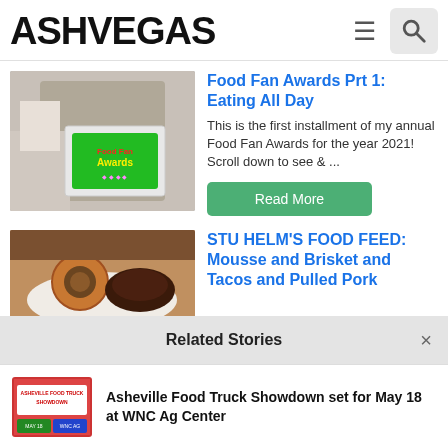ASHVEGAS
Food Fan Awards Prt 1: Eating All Day
This is the first installment of my annual Food Fan Awards for the year 2021! Scroll down to see & ...
[Figure (photo): Person holding a Food Fan Awards box with colorful green signage]
STU HELM'S FOOD FEED: Mousse and Brisket and Tacos and Pulled Pork
[Figure (photo): Plate of food including a round pastry/onion ring and chocolate dish]
Related Stories
[Figure (photo): Asheville Food Truck Showdown thumbnail image]
Asheville Food Truck Showdown set for May 18 at WNC Ag Center